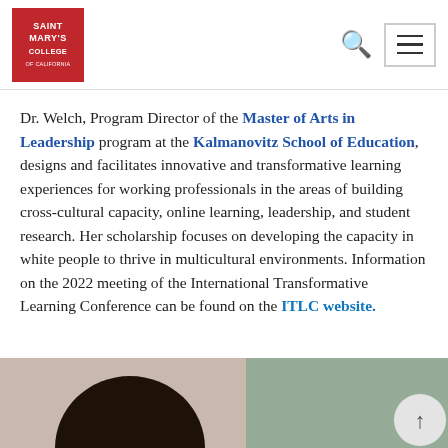Saint Mary's College of California — navigation header with logo, search, and menu icons
Dr. Welch, Program Director of the Master of Arts in Leadership program at the Kalmanovitz School of Education, designs and facilitates innovative and transformative learning experiences for working professionals in the areas of building cross-cultural capacity, online learning, leadership, and student research. Her scholarship focuses on developing the capacity in white people to thrive in multicultural environments. Information on the 2022 meeting of the International Transformative Learning Conference can be found on the ITLC website.
[Figure (photo): Bottom portion of page showing a partially cropped photograph of a person with dark hair, with a greenish background, likely in a classroom or office setting.]